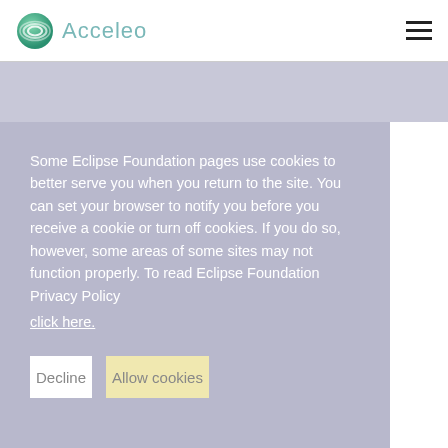Acceleo
Some Eclipse Foundation pages use cookies to better serve you when you return to the site. You can set your browser to notify you before you receive a cookie or turn off cookies. If you do so, however, some areas of some sites may not function properly. To read Eclipse Foundation Privacy Policy click here.
Decline
Allow cookies